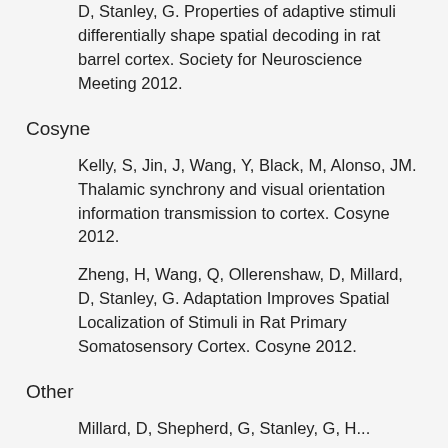D, Stanley, G. Properties of adaptive stimuli differentially shape spatial decoding in rat barrel cortex. Society for Neuroscience Meeting 2012.
Cosyne
Kelly, S, Jin, J, Wang, Y, Black, M, Alonso, JM. Thalamic synchrony and visual orientation information transmission to cortex. Cosyne 2012.
Zheng, H, Wang, Q, Ollerenshaw, D, Millard, D, Stanley, G. Adaptation Improves Spatial Localization of Stimuli in Rat Primary Somatosensory Cortex. Cosyne 2012.
Other
Millard, D, Shepherd, G, Stanley, G, H...